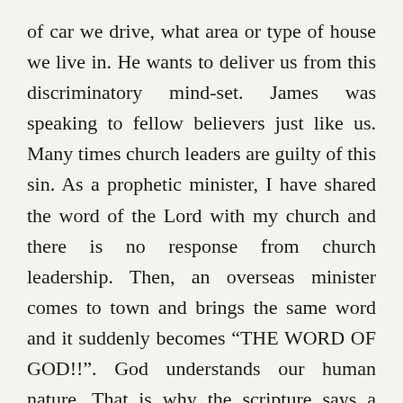of car we drive, what area or type of house we live in. He wants to deliver us from this discriminatory mind-set. James was speaking to fellow believers just like us. Many times church leaders are guilty of this sin. As a prophetic minister, I have shared the word of the Lord with my church and there is no response from church leadership. Then, an overseas minister comes to town and brings the same word and it suddenly becomes “THE WORD OF GOD!!”. God understands our human nature. That is why the scripture says a prophet has no honour in his own country (Lk. 4:24, John 4:44). Jesus Himself suffered this type of discrimination. Some people were more interested in where He